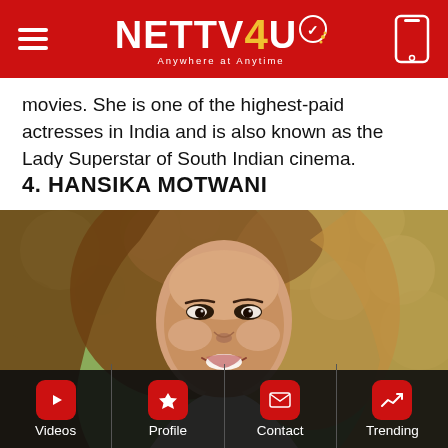NETTV4U — Anywhere at Anytime
movies. She is one of the highest-paid actresses in India and is also known as the Lady Superstar of South Indian cinema.
4. HANSIKA MOTWANI
[Figure (photo): Portrait photo of Hansika Motwani smiling, with long brown highlighted hair, against a blurred green outdoor background. Bottom navigation bar overlaid: Videos, Profile, Contact, Trending with red rounded square icons.]